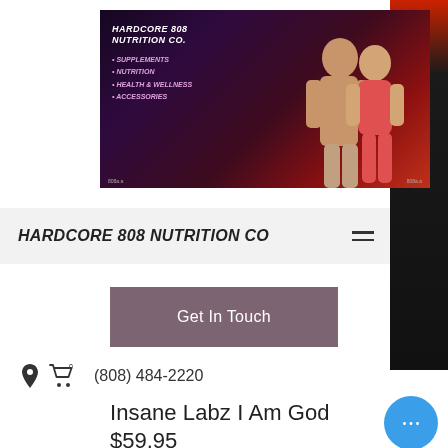[Figure (logo): Hardcore 808 Nutrition Co. banner ad with dark purple/red gradient background, showing two fitness models and text: HARDCORE 808 NUTRITION CO., SUPPLEMENTS, NUTRITION, HEALTH & WELLNESS, ACCESSORIES]
HARDCORE 808 NUTRITION CO
Get In Touch
(808) 484-2220
Insane Labz I Am God
$59.95